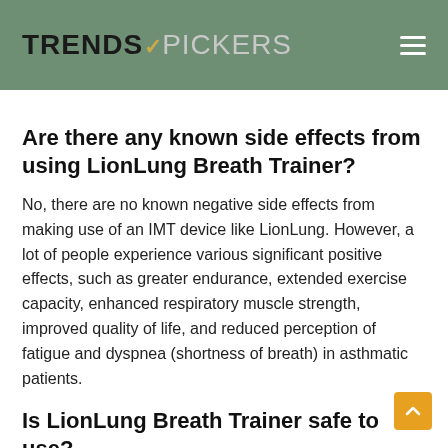TRENDS✓PICKERS
Are there any known side effects from using LionLung Breath Trainer?
No, there are no known negative side effects from making use of an IMT device like LionLung. However, a lot of people experience various significant positive effects, such as greater endurance, extended exercise capacity, enhanced respiratory muscle strength, improved quality of life, and reduced perception of fatigue and dyspnea (shortness of breath) in asthmatic patients.
Is LionLung Breath Trainer safe to use?